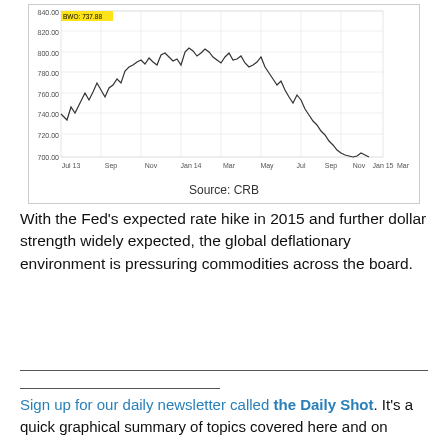[Figure (continuous-plot): Line chart showing CRB commodity index from Jul 2013 to Mar 2015, starting around 820, peaking near 840 in early 2014, then sharply declining to around 700-710 by Mar 2015. Y-axis ranges from 700 to 840. Source: CRB.]
Source: CRB
With the Fed's expected rate hike in 2015 and further dollar strength widely expected, the global deflationary environment is pressuring commodities across the board.
Sign up for our daily newsletter called the Daily Shot. It's a quick graphical summary of topics covered here and on